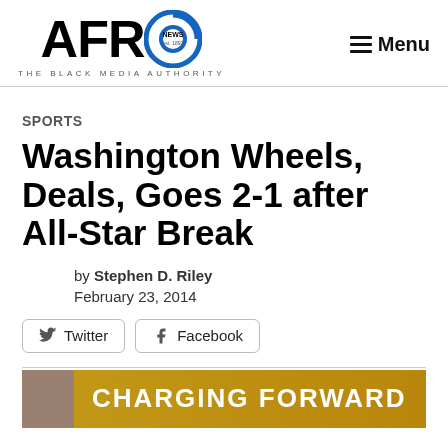AFRO NEWS — THE BLACK MEDIA AUTHORITY | Menu
SPORTS
Washington Wheels, Deals, Goes 2-1 after All-Star Break
by Stephen D. Riley
February 23, 2014
Twitter   Facebook
[Figure (photo): CHARGING FORWARD banner with a person on the left side, gold/yellow background]